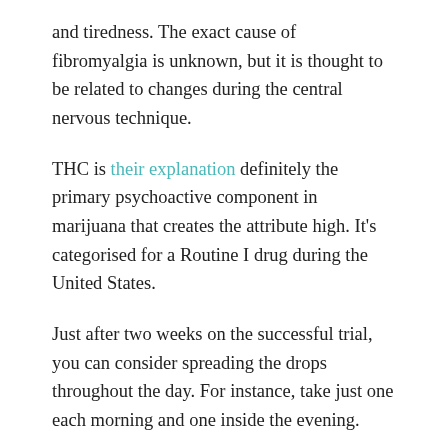and tiredness. The exact cause of fibromyalgia is unknown, but it is thought to be related to changes during the central nervous technique.
THC is their explanation definitely the primary psychoactive component in marijuana that creates the attribute high. It's categorised for a Routine I drug during the United States.
Just after two weeks on the successful trial, you can consider spreading the drops throughout the day. For instance, take just one each morning and one inside the evening.
CBD can commonly take from a couple of minutes to a couple of several hours to work correctly, depending